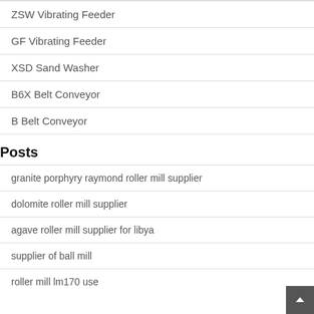ZSW Vibrating Feeder
GF Vibrating Feeder
XSD Sand Washer
B6X Belt Conveyor
B Belt Conveyor
Posts
granite porphyry raymond roller mill supplier
dolomite roller mill supplier
agave roller mill supplier for libya
supplier of ball mill
roller mill lm170 use